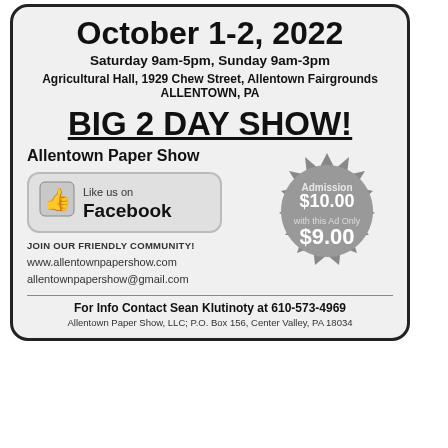October 1-2, 2022
Saturday 9am-5pm, Sunday 9am-3pm
Agricultural Hall, 1929 Chew Street, Allentown Fairgrounds
ALLENTOWN, PA
BIG 2 DAY SHOW!
Allentown Paper Show
Like us on Facebook
JOIN OUR FRIENDLY COMMUNITY!
www.allentownpapershow.com
allentownpapershow@gmail.com
[Figure (other): Starburst badge showing Admission $10.00 with this Ad Only $9.00]
For Info Contact Sean Klutinoty at 610-573-4969
Allentown Paper Show, LLC; P.O. Box 156, Center Valley, PA 18034